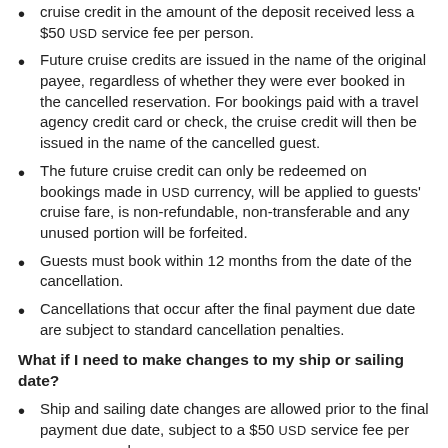cruise credit in the amount of the deposit received less a $50 USD service fee per person.
Future cruise credits are issued in the name of the original payee, regardless of whether they were ever booked in the cancelled reservation. For bookings paid with a travel agency credit card or check, the cruise credit will then be issued in the name of the cancelled guest.
The future cruise credit can only be redeemed on bookings made in USD currency, will be applied to guests' cruise fare, is non-refundable, non-transferable and any unused portion will be forfeited.
Guests must book within 12 months from the date of the cancellation.
Cancellations that occur after the final payment due date are subject to standard cancellation penalties.
What if I need to make changes to my ship or sailing date?
Ship and sailing date changes are allowed prior to the final payment due date, subject to a $50 USD service fee per person, per change.
Changes made after the final payment due date are subject to standard cancellation penalties.